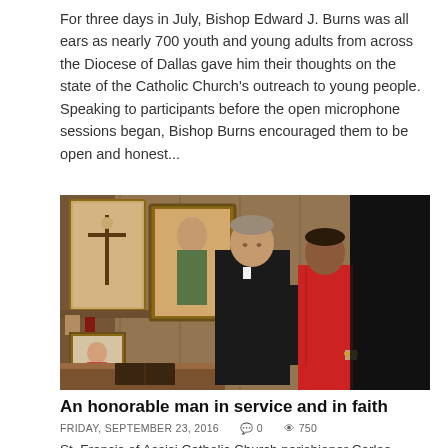For three days in July, Bishop Edward J. Burns was all ears as nearly 700 youth and young adults from across the Diocese of Dallas gave him their thoughts on the state of the Catholic Church's outreach to young people. Speaking to participants before the open microphone sessions began, Bishop Burns encouraged them to be open and honest...
[Figure (photo): A man in a black clerical suit and a woman in a red dress stand together inside a room with religious artwork and a crucifix on the wall behind them.]
An honorable man in service and in faith
FRIDAY, SEPTEMBER 23, 2016   🗨 0   👁 750
St. Francis of Assisi Catholic Church parishioner Carlos Liscano's legacy